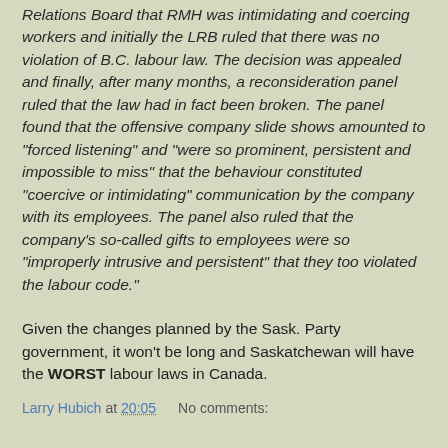Relations Board that RMH was intimidating and coercing workers and initially the LRB ruled that there was no violation of B.C. labour law. The decision was appealed and finally, after many months, a reconsideration panel ruled that the law had in fact been broken. The panel found that the offensive company slide shows amounted to "forced listening" and "were so prominent, persistent and impossible to miss" that the behaviour constituted "coercive or intimidating" communication by the company with its employees. The panel also ruled that the company's so-called gifts to employees were so "improperly intrusive and persistent" that they too violated the labour code."
Given the changes planned by the Sask. Party government, it won't be long and Saskatchewan will have the WORST labour laws in Canada.
Larry Hubich at 20:05    No comments: